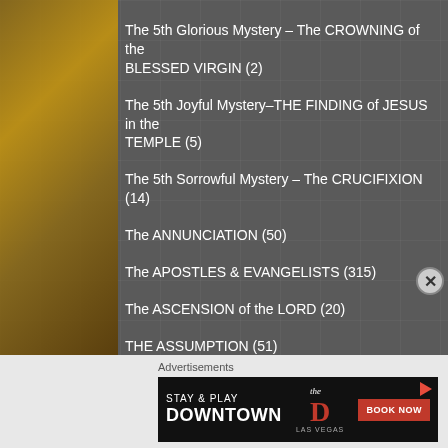The 5th Glorious Mystery – The CROWNING of the BLESSED VIRGIN (2)
The 5th Joyful Mystery–THE FINDING of JESUS in the TEMPLE (5)
The 5th Sorrowful Mystery – The CRUCIFIXION (14)
The ANNUNCIATION (50)
The APOSTLES & EVANGELISTS (315)
The ASCENSION of the LORD (20)
THE ASSUMPTION (51)
The BAPTISM of the LORD (6)
The BEATITUDES (38)
Advertisements
[Figure (screenshot): Advertisement banner: STAY & PLAY DOWNTOWN – The D Las Vegas – BOOK NOW]